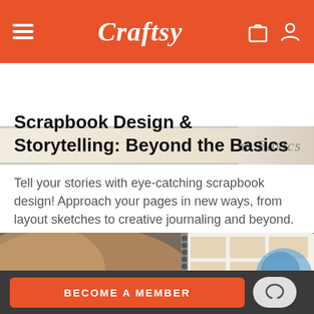Craftsy
[Figure (screenshot): Banner strip showing 'Beyond the Basics' text on a tan/beige background]
Scrapbook Design & Storytelling: Beyond the Basics
Tell your stories with eye-catching scrapbook design! Approach your pages in new ways, from layout sketches to creative journaling and beyond.
[Figure (photo): Person holding an open spiral-bound sketchbook/scrapbook with layout sketches and blue watercolor illustration, blurred background with warm tones]
BECOME A MEMBER